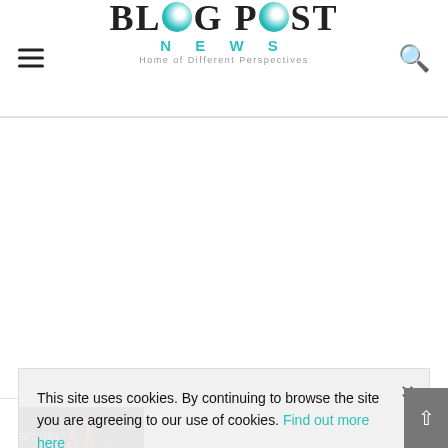BLOG POST NEWS — Home of Different Perspectives
[Figure (photo): Dark thumbnail image with glowing red/orange star shapes and stylized text 'Blacup L.v' on black background]
This site uses cookies. By continuing to browse the site you are agreeing to our use of cookies. Find out more here
admin